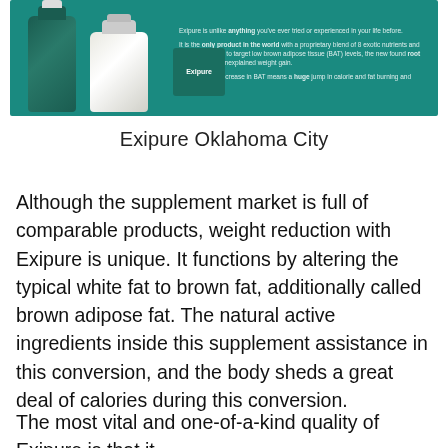[Figure (photo): Exipure supplement product banner showing two supplement bottles on a teal/green background with promotional text about the product being unique and targeting low brown adipose tissue (BAT) levels.]
Exipure Oklahoma City
Although the supplement market is full of comparable products, weight reduction with Exipure is unique. It functions by altering the typical white fat to brown fat, additionally called brown adipose fat. The natural active ingredients inside this supplement assistance in this conversion, and the body sheds a great deal of calories during this conversion.
The most vital and one-of-a-kind quality of Exipure is that it...